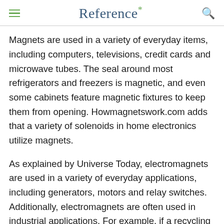Reference*
Magnets are used in a variety of everyday items, including computers, televisions, credit cards and microwave tubes. The seal around most refrigerators and freezers is magnetic, and even some cabinets feature magnetic fixtures to keep them from opening. Howmagnetswork.com adds that a variety of solenoids in home electronics utilize magnets.
As explained by Universe Today, electromagnets are used in a variety of everyday applications, including generators, motors and relay switches. Additionally, electromagnets are often used in industrial applications. For example, if a recycling plant wants to